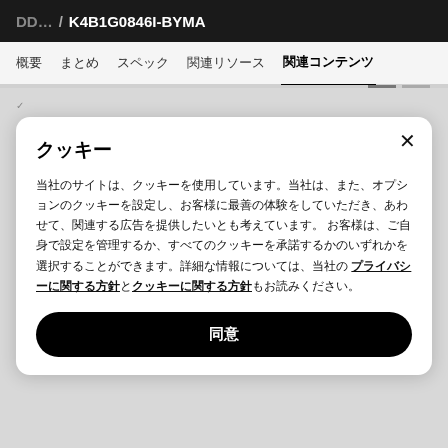DD… / K4B1G0846I-BYMA
概要　まとめ　スペック　関連リソース　関連コンテンツ
クッキー
当社のサイトは、クッキーを使用しています。当社は、また、オプションのクッキーを設定し、お客様に最善の体験をしていただき、あわせて、関連する広告を提供したいとも考えています。 お客様は、ご自身で設定を管理するか、すべてのクッキーを承諾するかのいずれかを選択することができます。詳細な情報については、当社のプライバシーに関する方針とクッキーに関する方針もお読みください。
同意